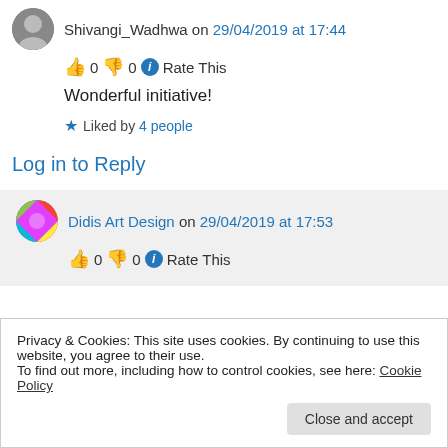Shivangi_Wadhwa on 29/04/2019 at 17:44
👍 0 👎 0 ℹ Rate This
Wonderful initiative!
★ Liked by 4 people
Log in to Reply
Didis Art Design on 29/04/2019 at 17:53
👍 0 👎 0 ℹ Rate This
Privacy & Cookies: This site uses cookies. By continuing to use this website, you agree to their use. To find out more, including how to control cookies, see here: Cookie Policy
Close and accept